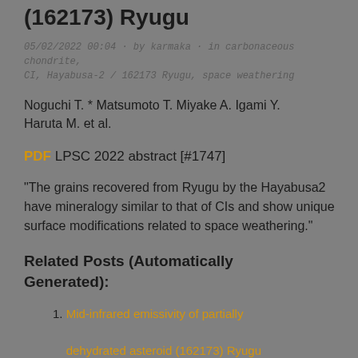(162173) Ryugu
05/02/2022 00:04 · by karmaka · in carbonaceous chondrite, CI, Hayabusa-2 / 162173 Ryugu, space weathering
Noguchi T. * Matsumoto T. Miyake A. Igami Y. Haruta M. et al.
PDF LPSC 2022 abstract [#1747]
“The grains recovered from Ryugu by the Hayabusa2 have mineralogy similar to that of CIs and show unique surface modifications related to space weathering.”
Related Posts (Automatically Generated):
Mid-infrared emissivity of partially dehydrated asteroid (162173) Ryugu shows strong signs of aqueous